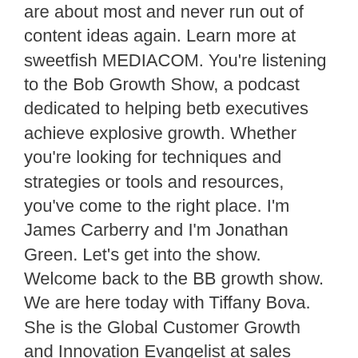are about most and never run out of content ideas again. Learn more at sweetfish MEDIACOM. You're listening to the Bob Growth Show, a podcast dedicated to helping betb executives achieve explosive growth. Whether you're looking for techniques and strategies or tools and resources, you've come to the right place. I'm James Carberry and I'm Jonathan Green. Let's get into the show. Welcome back to the BB growth show. We are here today with Tiffany Bova. She is the Global Customer Growth and Innovation Evangelist at sales force. Tiffany, how you doing today? I'm doing great. I am excited to chat with you today, tiffany. We're going to be talking about this idea of who owns the customer experience. You've got some really interesting thoughts around this idea. It's something that you talk about often. But before we get into that, I'd love to give a little bit of context to our listeners, is to this, to who you are, a little bit of your background. So can you tell us a little bit about what you're doing on a day to day basis at sales worth. Yeah, it's so. I've been here almost two years now. It's crazy. March will be two years after I